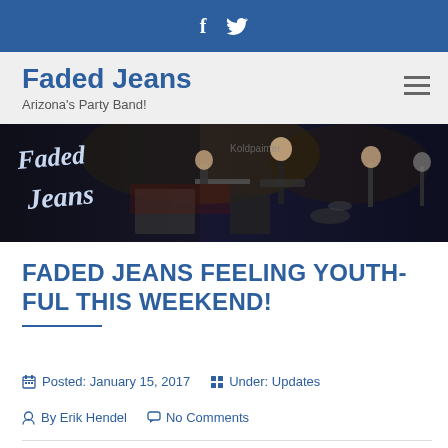f  (twitter bird icon)
Faded Jeans
Arizona's Party Band!
[Figure (photo): Band photo showing musicians performing on a dark stage with 'Faded Jeans' logo/text visible on left side]
FADED JEANS FEELING YOUTH-FUL THIS WEEKEND!
Posted: January 15, 2017   Under: Updates
By Erik Hendel   No Comments